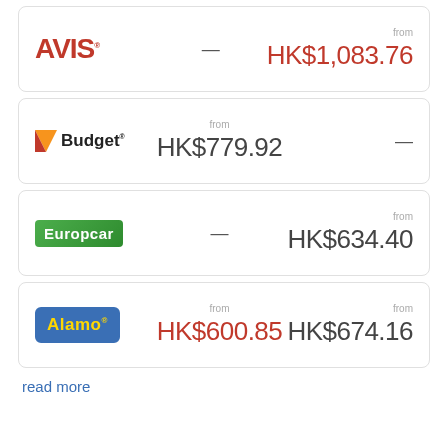| Brand | Price 1 | Price 2 |
| --- | --- | --- |
| AVIS | — | from HK$1,083.76 |
| Budget | from HK$779.92 | — |
| Europcar | — | from HK$634.40 |
| Alamo | from HK$600.85 | from HK$674.16 |
read more